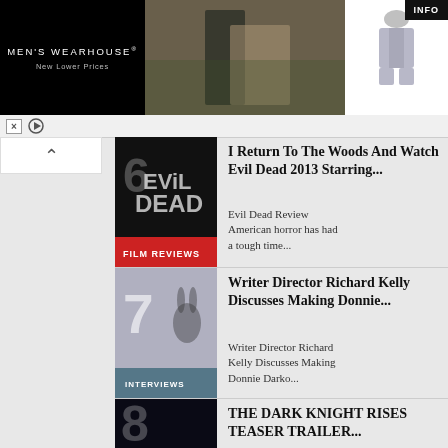[Figure (photo): Men's Wearhouse advertisement banner with man in tuxedo and woman in formal dress, plus a man in grey suit on right side with INFO button]
[Figure (photo): Article thumbnail - Evil Dead Film Reviews logo with number 6]
I Return To The Woods And Watch Evil Dead 2013 Starring...
Evil Dead Review
American horror has had a tough time...
[Figure (photo): Article thumbnail - Interviews with number 7 and Donnie Darko rabbit figure]
Writer Director Richard Kelly Discusses Making Donnie...
Writer Director Richard Kelly Discusses Making Donnie Darko...
[Figure (photo): Article thumbnail - Batman News with number 8 and Batman symbol]
THE DARK KNIGHT RISES TEASER TRAILER...
THE DARK KNIGHT RISES TEASER TRAILER ANALYSIS ...
Harry Potter Exhibition At The